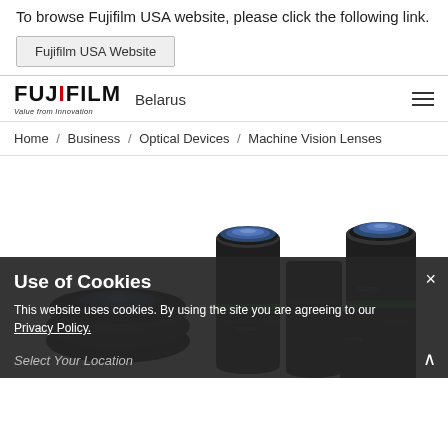To browse Fujifilm USA website, please click the following link.
Fujifilm USA Website
[Figure (logo): FUJIFILM Value from Innovation logo with Belarus country label and hamburger menu icon]
Home / Business / Optical Devices / Machine Vision Lenses
[Figure (photo): Multiple FUJINON machine vision lenses arranged together on white background]
Use of Cookies
This website uses cookies. By using the site you are agreeing to our Privacy Policy.
Select Your Location